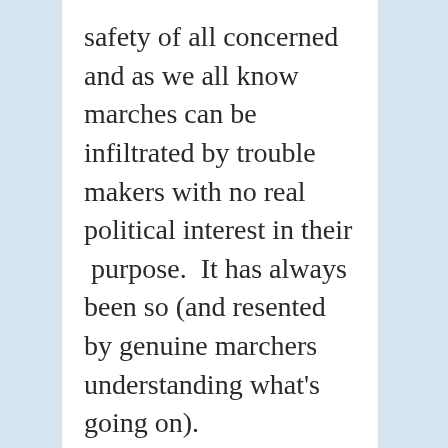safety of all concerned and as we all know marches can be infiltrated by trouble makers with no real political interest in their  purpose.  It has always been so (and resented by genuine marchers understanding what's going on).
It's the same for any other instance where a bandwagon can be mounted.  Drunks are best-controlled by an officer to a limb for the idiot's safety as